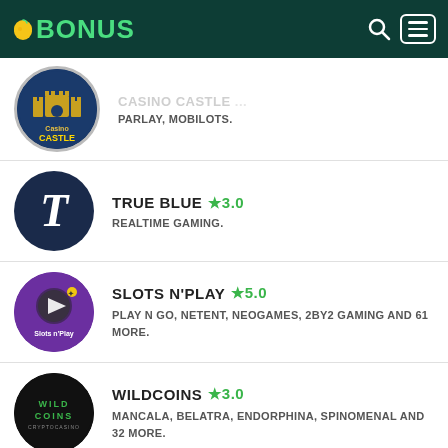BONUS
CASINO CASTLE — PARLAY, MOBILOTS.
TRUE BLUE ★3.0 — REALTIME GAMING.
SLOTS N'PLAY ★5.0 — PLAY N GO, NETENT, NEOGAMES, 2BY2 GAMING AND 61 MORE.
WILDCOINS ★3.0 — MANCALA, BELATRA, ENDORPHINA, SPINOMENAL AND 32 MORE.
JUSTBIT.IO ★3.0